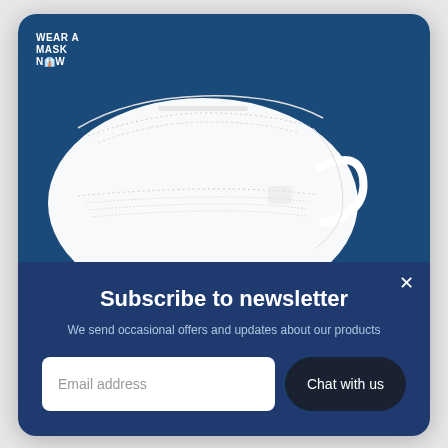[Figure (photo): White KN95/FFP2 face mask on a dark blue background with 'WEAR A MASK NOW' logo in top left corner]
Subscribe to newsletter
We send occasional offers and updates about our products
Email address
Chat with us